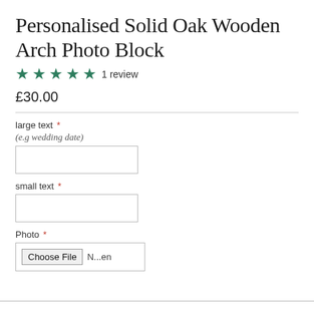Personalised Solid Oak Wooden Arch Photo Block
★★★★★ 1 review
£30.00
large text * (e.g wedding date)
small text *
Photo *
Choose File N...en